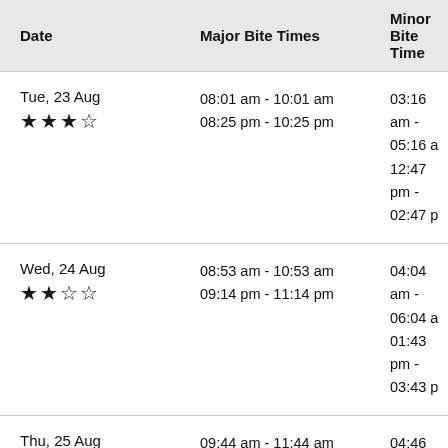| Date | Major Bite Times | Minor Bite Times |
| --- | --- | --- |
| Tue, 23 Aug
★★★☆ | 08:01 am - 10:01 am
08:25 pm - 10:25 pm | 03:16 am - 05:16 am
12:47 pm - 02:47 pm |
| Wed, 24 Aug
★★☆☆ | 08:53 am - 10:53 am
09:14 pm - 11:14 pm | 04:04 am - 06:04 am
01:43 pm - 03:43 pm |
| Thu, 25 Aug
★★☆☆ | 09:44 am - 11:44 am
10:02 pm - 12:02 am | 04:46 am - 06:46 am
02:42 pm - 04:42 pm |